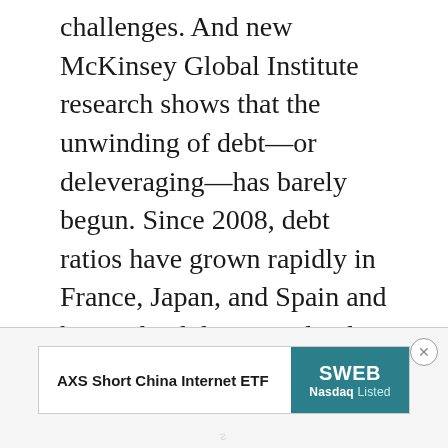challenges. And new McKinsey Global Institute research shows that the unwinding of debt—or deleveraging—has barely begun. Since 2008, debt ratios have grown rapidly in France, Japan, and Spain and have edged downward only in Australia, South Korea, and the United States. Overall, the ratio of debt to GDP has grown in the world's ten largest economies.
[Figure (other): Advertisement banner: AXS Short China Internet ETF with SWEB Nasdaq Listed badge in teal]